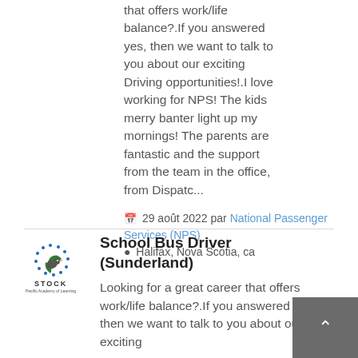that offers work/life balance?.If you answered yes, then we want to talk to you about our exciting Driving opportunities!.I love working for NPS! The kids merry banter light up my mornings! The parents are fantastic and the support from the team in the office, from Dispatc...
29 août 2022 par National Passenger Services (NPS)
Halifax, Nova Scotia, ca
[Figure (logo): Stock Transportation company logo with bird/leaf graphic and stars]
School Bus Driver (Sunderland)
Looking for a great career that offers work/life balance?.If you answered yes, then we want to talk to you about our exciting